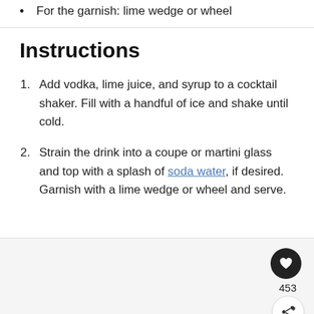For the garnish: lime wedge or wheel
Instructions
Add vodka, lime juice, and syrup to a cocktail shaker. Fill with a handful of ice and shake until cold.
Strain the drink into a coupe or martini glass and top with a splash of soda water, if desired. Garnish with a lime wedge or wheel and serve.